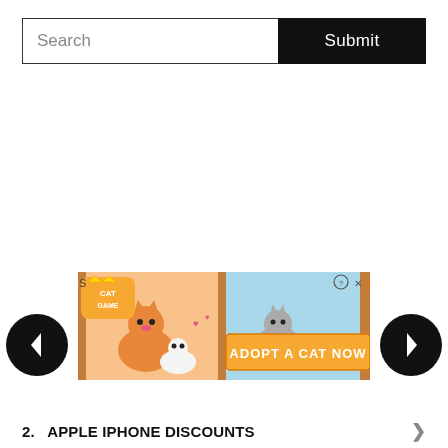Search
Submit
[Figure (screenshot): Advertisement banner for a mobile cat game called 'Cat Game' showing cartoon cats and text 'ADOPT A CAT NOW']
2.  APPLE IPHONE DISCOUNTS